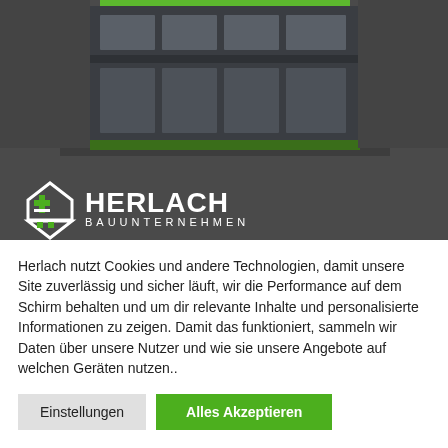[Figure (photo): Top dark gray section showing a modern industrial/commercial building facade with green accents at top, large windows, and a Herlach Bauunternehmen logo with house icon and green plus/grid symbol in the lower portion of the dark area.]
Herlach nutzt Cookies und andere Technologien, damit unsere Site zuverlässig und sicher läuft, wir die Performance auf dem Schirm behalten und um dir relevante Inhalte und personalisierte Informationen zu zeigen. Damit das funktioniert, sammeln wir Daten über unsere Nutzer und wie sie unsere Angebote auf welchen Geräten nutzen..
Einstellungen
Alles Akzeptieren